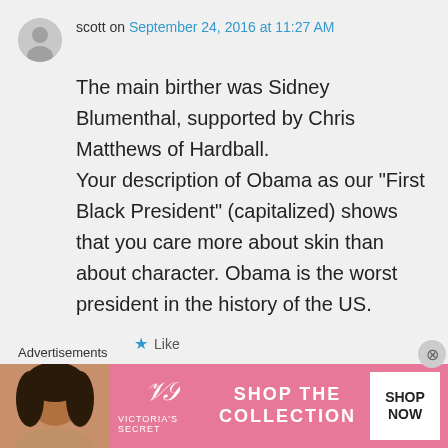scott on September 24, 2016 at 11:27 AM
The main birther was Sidney Blumenthal, supported by Chris Matthews of Hardball.
Your description of Obama as our “First Black President” (capitalized) shows that you care more about skin than about character. Obama is the worst president in the history of the US.
★ Like
Advertisements
[Figure (other): Victoria's Secret advertisement banner with model photo, VS logo, 'SHOP THE COLLECTION' text, and 'SHOP NOW' button]